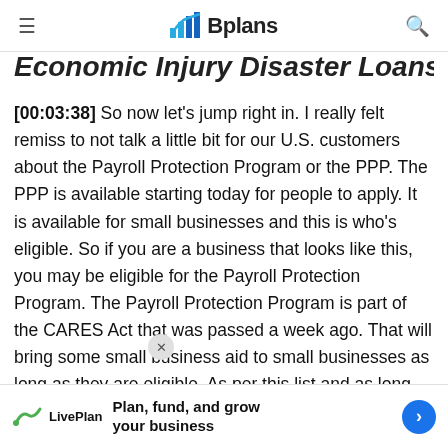Bplans
Economic Injury Disaster Loans
[00:03:38] So now let’s jump right in. I really felt remiss to not talk a little bit for our U.S. customers about the Payroll Protection Program or the PPP. The PPP is available starting today for people to apply. It is available for small businesses and this is who’s eligible. So if you are a business that looks like this, you may be eligible for the Payroll Protection Program. The Payroll Protection Program is part of the CARES Act that was passed a week ago. That will bring some small business aid to small businesses as long as they are eligible. As per this list and as long as they spend the money in certain ways. I think that right now if you think your busine…ction Program. I very much urge you to talk to your bank. If